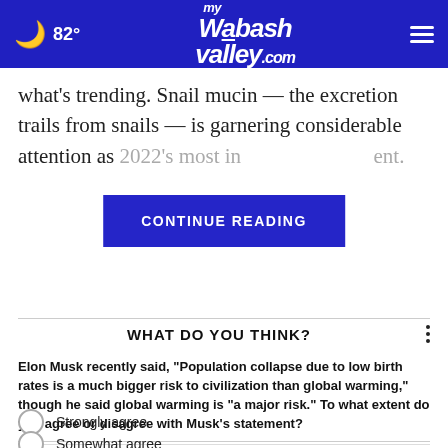82° mywabashvalley.com
what's trending. Snail mucin — the excretion trails from snails — is garnering considerable attention as 2022's most in[CONTINUE READING]ent.
WHAT DO YOU THINK?
Elon Musk recently said, "Population collapse due to low birth rates is a much bigger risk to civilization than global warming," though he said global warming is "a major risk." To what extent do you agree or disagree with Musk's statement?
Strongly agree
Somewhat agree
Somewhat disagree